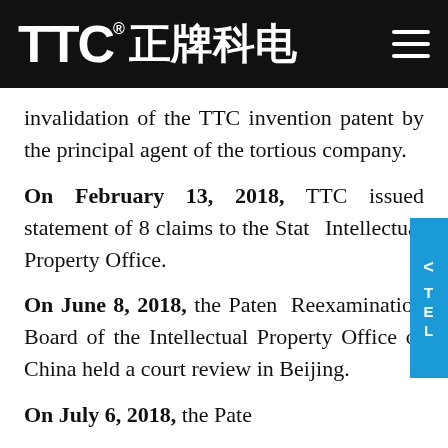TTC® 正牌科电
invalidation of the TTC invention patent by the principal agent of the tortious company.
On February 13, 2018, TTC issued statement of 8 claims to the State Intellectual Property Office.
On June 8, 2018, the Patent Reexamination Board of the Intellectual Property Office of China held a court review in Beijing.
On July 6, 2018, the Pate...